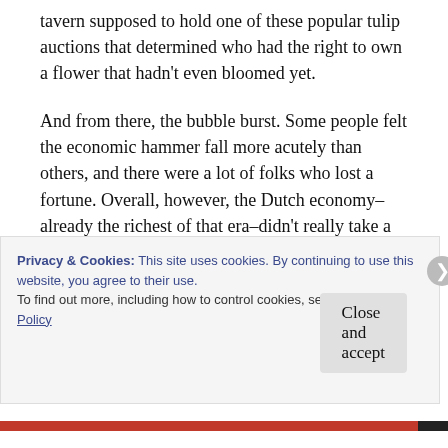tavern supposed to hold one of these popular tulip auctions that determined who had the right to own a flower that hadn’t even bloomed yet.
And from there, the bubble burst. Some people felt the economic hammer fall more acutely than others, and there were a lot of folks who lost a fortune. Overall, however, the Dutch economy–already the richest of that era–didn’t really take a dive.
After all, when the dust had settled, no serious, logical person with a conscience would really bereave a family of all their valuables just because
Privacy & Cookies: This site uses cookies. By continuing to use this website, you agree to their use.
To find out more, including how to control cookies, see here: Cookie Policy
Close and accept